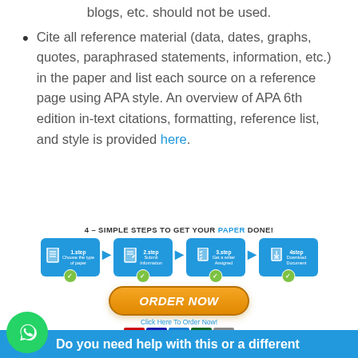blogs, etc. should not be used.
Cite all reference material (data, dates, graphs, quotes, paraphrased statements, information, etc.) in the paper and list each source on a reference page using APA style. An overview of APA 6th edition in-text citations, formatting, reference list, and style is provided here.
[Figure (infographic): 4 simple steps to get your paper done banner with order now button and payment icons]
Do you need help with this or a different